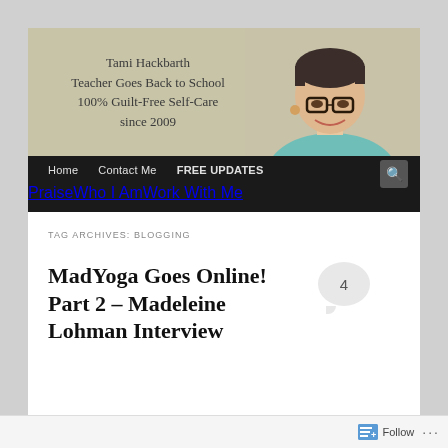[Figure (photo): Blog header banner with woman photo and text: Tami Hackbarth, Teacher Goes Back to School, 100% Guilt-Free Self-Care since 2009]
Home | Contact Me | FREE UPDATES | Praise | Who I Am | Work With Me
TAG ARCHIVES: BLOGGING
MadYoga Goes Online! Part 2 – Madeleine Lohman Interview